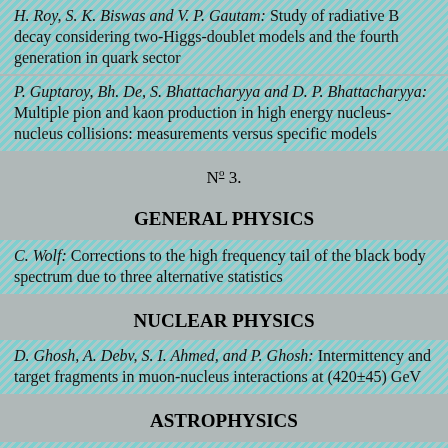H. Roy, S. K. Biswas and V. P. Gautam: Study of radiative B decay considering two-Higgs-doublet models and the fourth generation in quark sector
P. Guptaroy, Bh. De, S. Bhattacharyya and D. P. Bhattacharyya: Multiple pion and kaon production in high energy nucleus-nucleus collisions: measurements versus specific models
№ 3.
GENERAL PHYSICS
C. Wolf: Corrections to the high frequency tail of the black body spectrum due to three alternative statistics
NUCLEAR PHYSICS
D. Ghosh, A. Debv, S. I. Ahmed, and P. Ghosh: Intermittency and target fragments in muon-nucleus interactions at (420±45) GeV
ASTROPHYSICS
F. Rahaman and S. Mal: Global monopole in Einstein-...